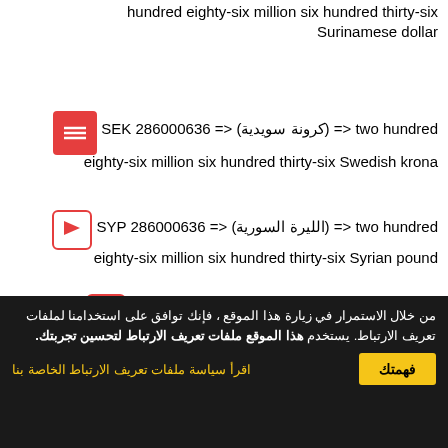hundred eighty-six million six hundred thirty-six Surinamese dollar
two hundred <= (كرونة سويدية) <= SEK 286000636 eighty-six million six hundred thirty-six Swedish krona
two hundred <= (الليرة السورية) <= SYP 286000636 eighty-six million six hundred thirty-six Syrian pound
two <= (دولار تايواني جديد) <= TWD 286000636 hundred eighty-six million six hundred thirty-six New Taiwan dollar
two <= (سوموني طاجيكستاني) <= TJS 286000636 hundred eighty-six million six hundred thirty-six Tajikistani somoni
من خلال الاستمرار في زيارة هذا الموقع ، فإنك توافق على استخدامنا لملفات تعريف الارتباط. يستخدم هذا الموقع ملفات تعريف الارتباط لتحسين تجربتك. اقرأ سياسة ملفات تعريف الارتباط الخاصة بنا. فهمتك